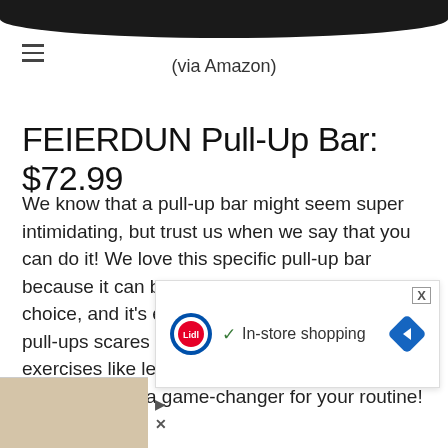[Figure (photo): Dark circular object partially visible at top of page]
(via Amazon)
FEIERDUN Pull-Up Bar: $72.99
We know that a pull-up bar might seem super intimidating, but trust us when we say that you can do it! We love this specific pull-up bar because it can be used in the doorway of your choice, and it's easy to set-up. If the thought of pull-ups scares you, opt for doing other exercises like leg raises, dips, crunc[hes! It's really a game] ne-chan[ger]
[Figure (screenshot): Lidl advertisement overlay showing 'In-store shopping' with checkmark, Lidl logo, and navigation arrow icon]
[Figure (photo): Bottom left thumbnail of a product, beige/tan colored item partially visible]